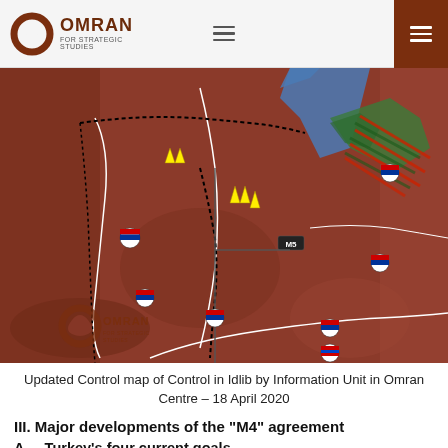OMRAN FOR STRATEGIC STUDIES
[Figure (map): Updated control map of Idlib region, Syria, dated 18 April 2020. The map shows territorial control with reddish-brown areas (Syrian government/Russian control), blue areas (Turkish/opposition control), green areas (contested/frontline zones), and white boundary lines. Russian flag icons, yellow arrow markers, and road markers including M5 highway are visible. Omran for Strategic Studies watermark appears at bottom left.]
Updated Control map of Control in Idlib by Information Unit in Omran Centre – 18 April 2020
III. Major developments of the "M4" agreement
A.    Turkey's four current goals
1. Preventing the threat of Corona (COVID19) especially